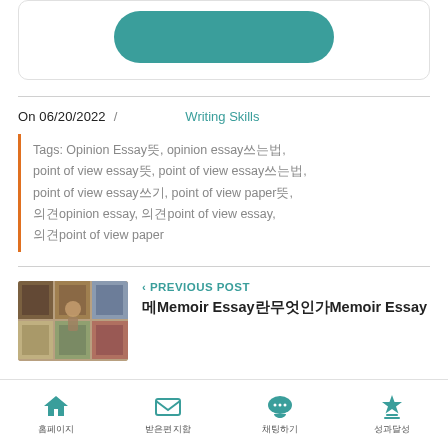[Figure (other): Teal rounded button inside a card with border]
On 06/20/2022 / Writing Skills
Tags: Opinion Essay뜻, opinion essay쓰는법, point of view essay뜻, point of view essay쓰는법, point of view essay쓰기, point of view paper뜻, 의견opinion essay, 의견point of view essay, 의견point of view paper
[Figure (photo): Thumbnail image of book collage for memoir essay post]
< PREVIOUS POST
메Memoir Essay란무엇인가Memoir Essay
홈페이지 받은편지함 채팅하기 성과달성